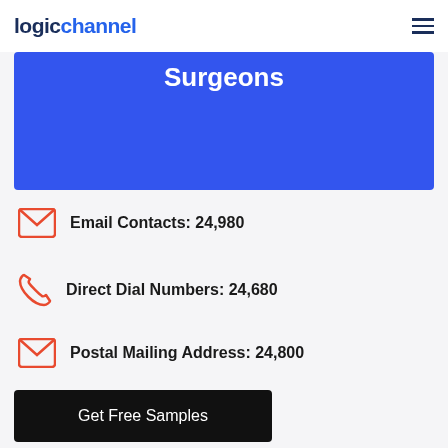logichannel
[Figure (infographic): Blue banner with text 'Surgeons' at top]
Email Contacts: 24,980
Direct Dial Numbers: 24,680
Postal Mailing Address: 24,800
Get Free Samples
Size of Reconstructive Surgeons